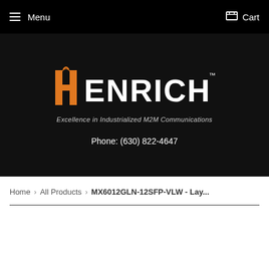Menu   Cart
[Figure (logo): Henrich logo with orange H graphic and white ENRICH text, tagline 'Excellence in Industrialized M2M Communications']
Phone: (630) 822-4647
Home › All Products › MX6012GLN-12SFP-VLW - Lay...